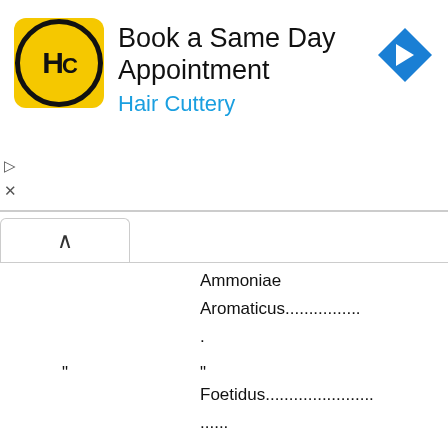[Figure (other): Hair Cuttery advertisement banner: yellow logo with HC in circle, 'Book a Same Day Appointment' title, 'Hair Cuttery' subtitle in blue, blue navigation arrow icon on right, play and close controls on left]
Ammoniae
Aromaticus................
.
"
"
Foetidus.......................
......
"
Armoracia
1-2 fluid drachms.
Compositus...............
.
"
Cajuputi.......................
..................